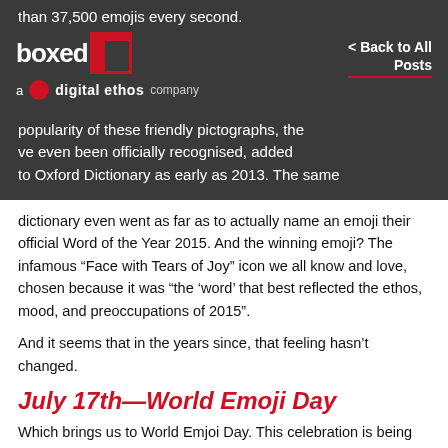than 37,500 emojis every second.
[Figure (logo): Boxed Red logo with red square and Digital Ethos company branding on dark background]
< Back to All Posts
popularity of these friendly pictographs, they've even been officially recognised, added to Oxford Dictionary as early as 2013. The same dictionary even went as far as to actually name an emoji their official Word of the Year 2015. And the winning emoji? The infamous “Face with Tears of Joy” icon we all know and love, chosen because it was “the ‘word’ that best reflected the ethos, mood, and preoccupations of 2015”.
And it seems that in the years since, that feeling hasn’t changed.
July 17th—World Emoji Day
Which brings us to World Emjoi Day. This celebration is being recognised the world over, both in the digital and